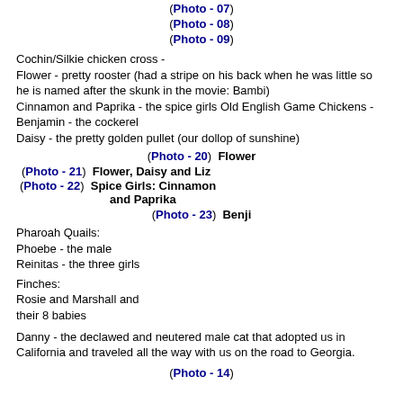(Photo - 07)
(Photo - 08)
(Photo - 09)
Cochin/Silkie chicken cross -
Flower - pretty rooster (had a stripe on his back when he was little so he is named after the skunk in the movie: Bambi)
Cinnamon and Paprika - the spice girls Old English Game Chickens -
Benjamin - the cockerel
Daisy - the pretty golden pullet (our dollop of sunshine)
(Photo - 20)  Flower
(Photo - 21)  Flower, Daisy and Liz
(Photo - 22)  Spice Girls: Cinnamon and Paprika
(Photo - 23)  Benji
Pharoah Quails:
Phoebe - the male
Reinitas - the three girls
Finches:
Rosie and Marshall and
their 8 babies
Danny - the declawed and neutered male cat that adopted us in California and traveled all the way with us on the road to Georgia.
(Photo - 14)